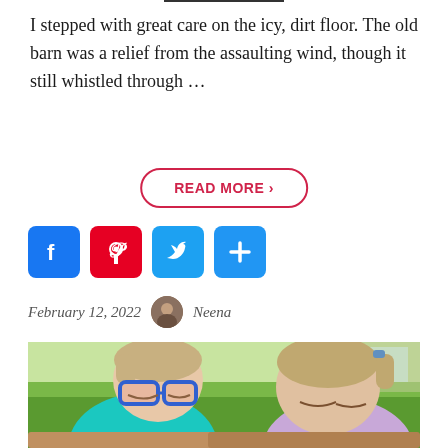I stepped with great care on the icy, dirt floor. The old barn was a relief from the assaulting wind, though it still whistled through ...
READ MORE ›
[Figure (other): Social media share icons: Facebook (blue), Pinterest (red), Twitter (light blue), and a plus/share button (blue)]
February 12, 2022   Neena
[Figure (photo): Two young children with short blond hair sitting side by side outdoors on a sunny day. The child on the left wears blue glasses and a teal/turquoise shirt. The child on the right wears a light purple/lavender top. Both children are looking downward. Green grass and outdoor setting visible in the background.]